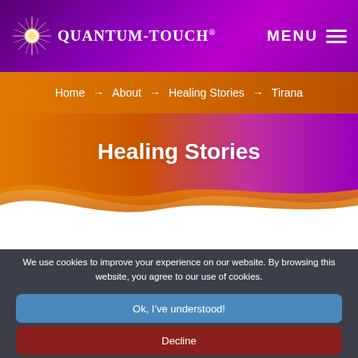Quantum-Touch® — MENU
Home → About → Healing Stories → Tirana
Healing Stories
We use cookies to improve your experience on our website. By browsing this website, you agree to our use of cookies.
Ok, I've understood!
Decline
More Info